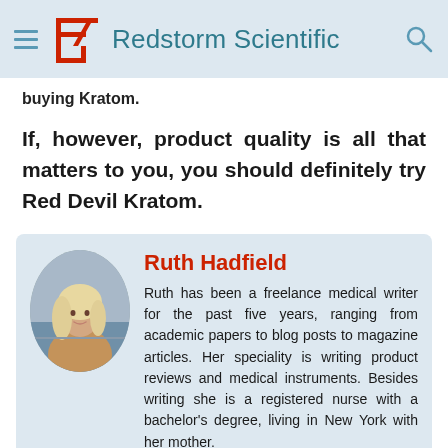Redstorm Scientific
buying Kratom.
If, however, product quality is all that matters to you, you should definitely try Red Devil Kratom.
[Figure (photo): Oval portrait photo of Ruth Hadfield, a woman with light blonde hair, wearing a tan/brown outfit, photographed outdoors near water.]
Ruth Hadfield
Ruth has been a freelance medical writer for the past five years, ranging from academic papers to blog posts to magazine articles. Her speciality is writing product reviews and medical instruments. Besides writing she is a registered nurse with a bachelor's degree, living in New York with her mother.